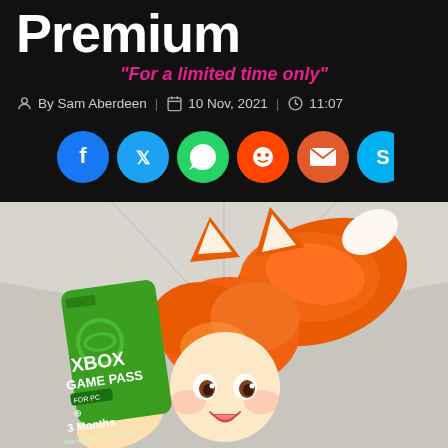Premium
"For a limited time only"
By Sam Aberdeen | 10 Nov, 2021 | 11:07
[Figure (infographic): Social share buttons row: Facebook, Twitter, WhatsApp, Reddit, Email, Skype]
[Figure (illustration): Anime-style fox girl character holding an Xbox Game Pass For PC 3 Months card]